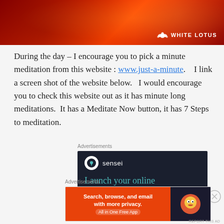[Figure (illustration): Red/orange gradient banner header with bokeh star-like light effects and White Lotus logo (lotus flower icon + text 'WHITE LOTUS') in bottom-right corner]
During the day – I encourage you to pick a minute meditation from this website : www.just-a-minute.    I link a screen shot of the website below.   I would encourage you to check this website out as it has minute long meditations.  It has a Meditate Now button, it has 7 Steps to meditation.
Advertisements
[Figure (screenshot): Sensei advertisement on dark navy background. Shows Sensei logo (tree in circle) and name 'sensei' in white, with teal text 'Launch your online course with WordPress']
Advertisements
[Figure (screenshot): DuckDuckGo advertisement. Orange left panel with bold white text 'Search, browse, and email with more privacy.' and 'All in One Free App' button. Dark right panel with DuckDuckGo duck logo.]